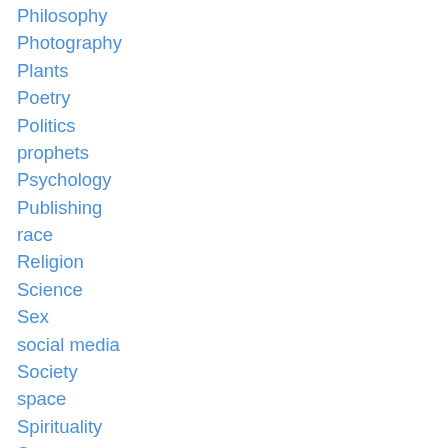Philosophy
Photography
Plants
Poetry
Politics
prophets
Psychology
Publishing
race
Religion
Science
Sex
social media
Society
space
Spirituality
Sports
Story
Style
Sufi